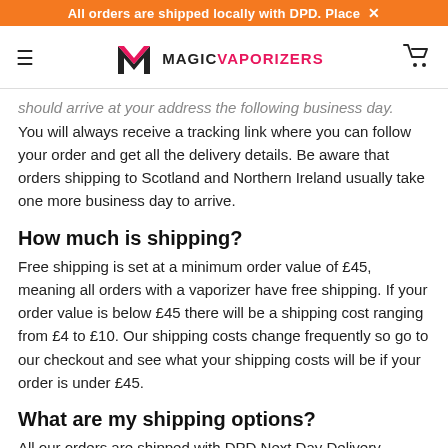All orders are shipped locally with DPD. Place ×
[Figure (logo): Magic Vaporizers logo with hamburger menu and cart icon]
should arrive at your address the following business day. You will always receive a tracking link where you can follow your order and get all the delivery details. Be aware that orders shipping to Scotland and Northern Ireland usually take one more business day to arrive.
How much is shipping?
Free shipping is set at a minimum order value of £45, meaning all orders with a vaporizer have free shipping. If your order value is below £45 there will be a shipping cost ranging from £4 to £10. Our shipping costs change frequently so go to our checkout and see what your shipping costs will be if your order is under £45.
What are my shipping options?
All our orders are shipped with DPD Next Day Delivery.
Where do you ship from?